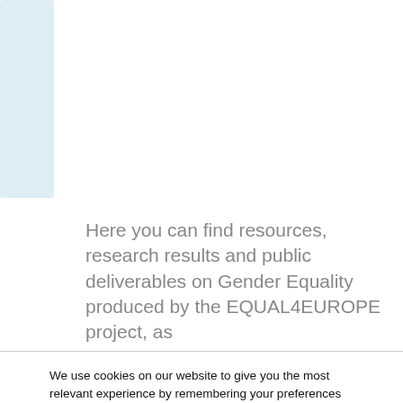[Figure (illustration): Light blue rectangular shape in upper left corner of the page, partial view of a decorative element]
Here you can find resources, research results and public deliverables on Gender Equality produced by the EQUAL4EUROPE project, as
We use cookies on our website to give you the most relevant experience by remembering your preferences and repeat visits. By clicking “Accept”, you consent to the use of ALL the cookies.
Cookie settings   ACCEPT